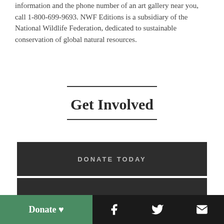information and the phone number of an art gallery near you, call 1-800-699-9693. NWF Editions is a subsidiary of the National Wildlife Federation, dedicated to sustainable conservation of global natural resources.
Get Involved
DONATE TODAY
Donate ♥